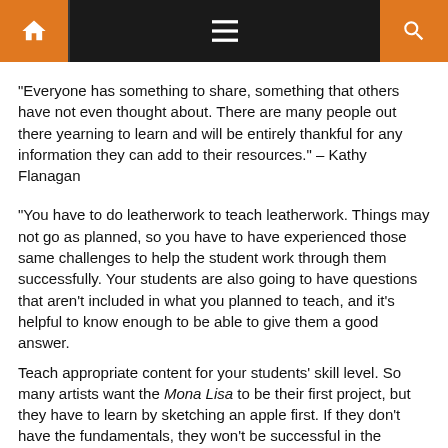Navigation bar with home, menu, and search icons
“Everyone has something to share, something that others have not even thought about. There are many people out there yearning to learn and will be entirely thankful for any information they can add to their resources.” – Kathy Flanagan
“You have to do leatherwork to teach leatherwork. Things may not go as planned, so you have to have experienced those same challenges to help the student work through them successfully. Your students are also going to have questions that aren’t included in what you planned to teach, and it’s helpful to know enough to be able to give them a good answer.
Teach appropriate content for your students’ skill level. So many artists want the Mona Lisa to be their first project, but they have to learn by sketching an apple first. If they don’t have the fundamentals, they won’t be successful in the ‘cooler’ projects they want to make. That’s part of why I enjoy teaching children. Adults try to make sense of everything